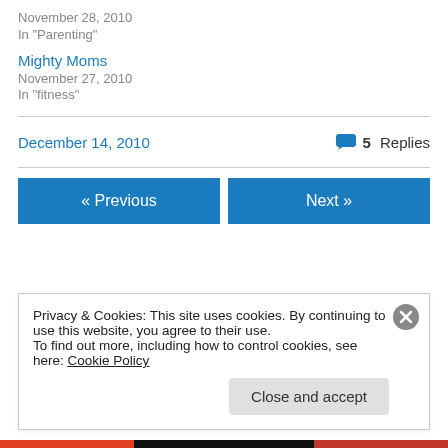November 28, 2010
In "Parenting"
Mighty Moms
November 27, 2010
In "fitness"
December 14, 2010
5 Replies
« Previous
Next »
Privacy & Cookies: This site uses cookies. By continuing to use this website, you agree to their use.
To find out more, including how to control cookies, see here: Cookie Policy
Close and accept